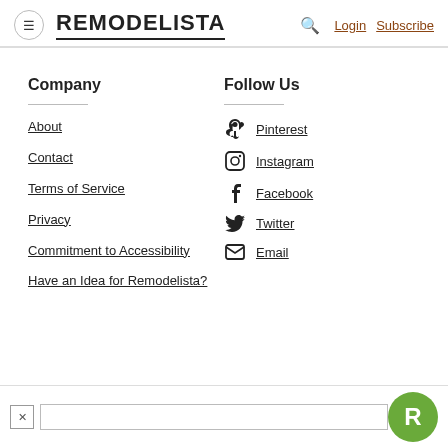REMODELISTA — Login | Subscribe
Company
About
Contact
Terms of Service
Privacy
Commitment to Accessibility
Have an Idea for Remodelista?
Follow Us
Pinterest
Instagram
Facebook
Twitter
Email